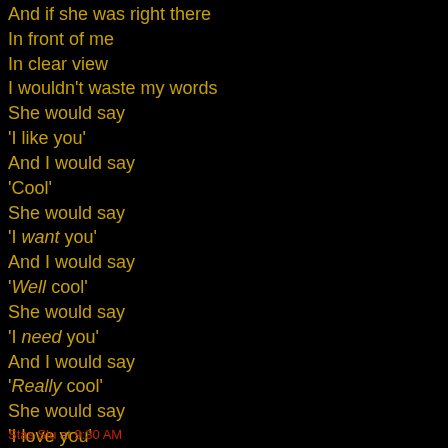And if she was right there
In front of me
In clear view
I wouldn't waste my words
She would say
'I like you'
And I would say
'Cool'
She would say
'I want you'
And I would say
'Well cool'
She would say
'I need you'
And I would say
'Really cool'
She would say
'I love you'
And I would say…
…'Whatever'…"
Stas Slu at 9:30 AM